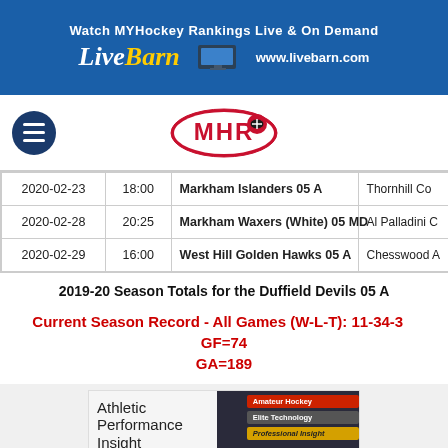[Figure (illustration): LiveBarn banner ad: 'Watch MYHockey Rankings Live & On Demand' with LiveBarn logo and www.livebarn.com]
[Figure (logo): MHR (MYHockey Rankings) logo with hamburger menu icon on the left]
| Date | Time | Team | Location |
| --- | --- | --- | --- |
| 2020-02-23 | 18:00 | Markham Islanders 05 A | Thornhill Co |
| 2020-02-28 | 20:25 | Markham Waxers (White) 05 MD | Al Palladini C |
| 2020-02-29 | 16:00 | West Hill Golden Hawks 05 A | Chesswood A |
2019-20 Season Totals for the Duffield Devils 05 A
Current Season Record - All Games (W-L-T): 11-34-3    GF=74    GA=189
[Figure (illustration): Athletic Performance Insight advertisement with hockey player image, tags: Amateur Hockey, Elite Technology, Professional Insight, VIDEO & ANALYTICS MADE EASY, Demos & free trials available!]